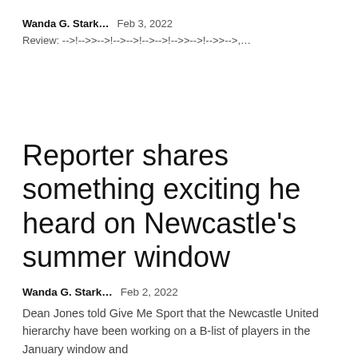Wanda G. Stark...   Feb 3, 2022
Review: -->!-->>-->!-->-->!-->-->!-->>-->!-->>-->,…
Reporter shares something exciting he heard on Newcastle's summer window
Wanda G. Stark...   Feb 2, 2022
Dean Jones told Give Me Sport that the Newcastle United hierarchy have been working on a B-list of players in the January window and